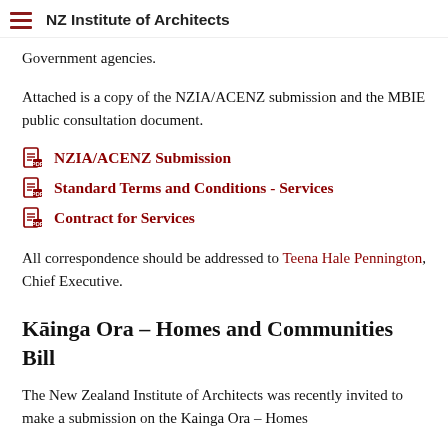NZ Institute of Architects
Government agencies.
Attached is a copy of the NZIA/ACENZ submission and the MBIE public consultation document.
NZIA/ACENZ Submission
Standard Terms and Conditions - Services
Contract for Services
All correspondence should be addressed to Teena Hale Pennington, Chief Executive.
Kāinga Ora – Homes and Communities Bill
The New Zealand Institute of Architects was recently invited to make a submission on the Kainga Ora – Homes